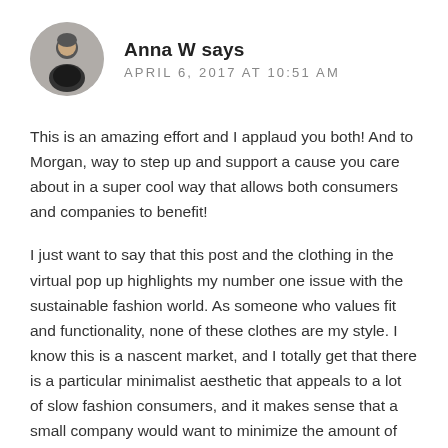Anna W says — APRIL 6, 2017 AT 10:51 AM
This is an amazing effort and I applaud you both! And to Morgan, way to step up and support a cause you care about in a super cool way that allows both consumers and companies to benefit!
I just want to say that this post and the clothing in the virtual pop up highlights my number one issue with the sustainable fashion world. As someone who values fit and functionality, none of these clothes are my style. I know this is a nascent market, and I totally get that there is a particular minimalist aesthetic that appeals to a lot of slow fashion consumers, and it makes sense that a small company would want to minimize the amount of work that goes into making these garments as